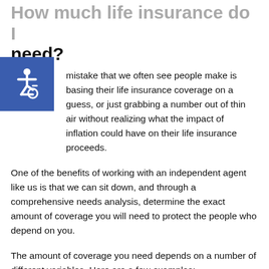How much life insurance do I need?
[Figure (illustration): Blue accessibility icon with wheelchair symbol]
A mistake that we often see people make is basing their life insurance coverage on a guess, or just grabbing a number out of thin air without realizing what the impact of inflation could have on their life insurance proceeds.
One of the benefits of working with an independent agent like us is that we can sit down, and through a comprehensive needs analysis, determine the exact amount of coverage you will need to protect the people who depend on you.
The amount of coverage you need depends on a number of different variables. Here are a few examples:
how many children you have